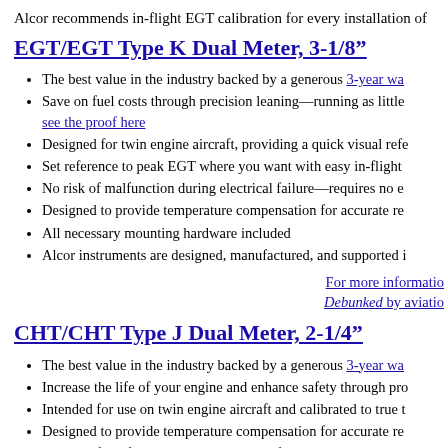Alcor recommends in-flight EGT calibration for every installation of
EGT/EGT Type K Dual Meter, 3-1/8″
The best value in the industry backed by a generous 3-year wa
Save on fuel costs through precision leaning—running as little see the proof here
Designed for twin engine aircraft, providing a quick visual refe
Set reference to peak EGT where you want with easy in-flight
No risk of malfunction during electrical failure—requires no e
Designed to provide temperature compensation for accurate re
All necessary mounting hardware included
Alcor instruments are designed, manufactured, and supported i
For more informatio Debunked by aviatio
CHT/CHT Type J Dual Meter, 2-1/4″
The best value in the industry backed by a generous 3-year wa
Increase the life of your engine and enhance safety through pro
Intended for use on twin engine aircraft and calibrated to true t
Designed to provide temperature compensation for accurate re
No risk of malfunction during electrical failure—requires no e